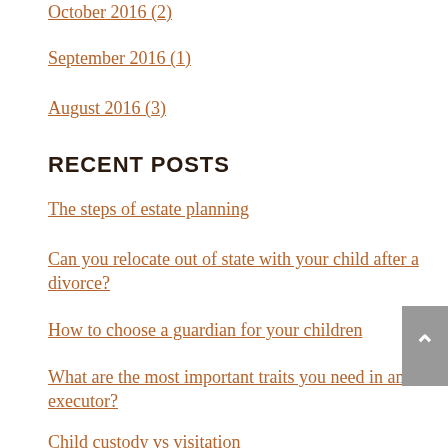October 2016 (2)
September 2016 (1)
August 2016 (3)
RECENT POSTS
The steps of estate planning
Can you relocate out of state with your child after a divorce?
How to choose a guardian for your children
What are the most important traits you need in an executor?
Child custody vs visitation